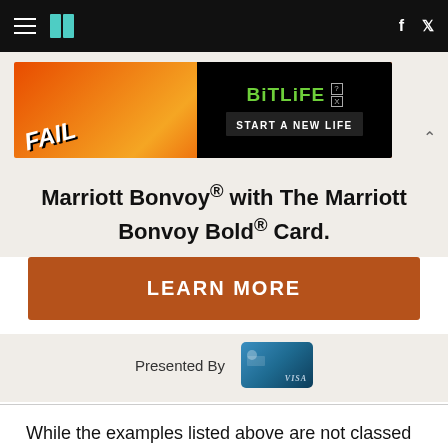HuffPost navigation with hamburger menu, logo, Facebook and Twitter icons
[Figure (photo): BitLife advertisement banner: FAIL text with cartoon character and flames, 'START A NEW LIFE' tagline on black background]
Marriott Bonvoy® with The Marriott Bonvoy Bold® Card.
LEARN MORE
Presented By [Marriott Bonvoy Bold Visa card image]
While the examples listed above are not classed as surgical, it's important to remember that all treatments carry risk, and I cannot stress enough the value in seeking out an experienced